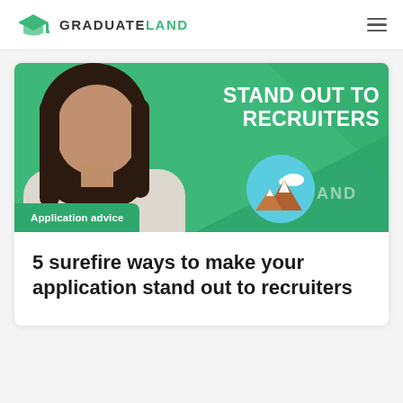GRADUATELAND
[Figure (photo): Banner image with a woman with dark hair on a green background. Bold white text reads 'STAND OUT TO RECRUITERS'. A circular mountain/landscape emoji icon is visible, and an 'Application advice' badge is overlaid at bottom left.]
Application advice
5 surefire ways to make your application stand out to recruiters